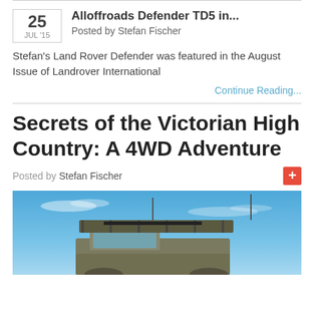Alloffroads Defender TD5 in...
Posted by Stefan Fischer
Stefan's Land Rover Defender was featured in the August Issue of Landrover International
Continue Reading...
Secrets of the Victorian High Country: A 4WD Adventure
Posted by Stefan Fischer
[Figure (photo): Photo of a 4WD vehicle (Land Rover Defender) with a roof rack and antenna against a bright blue sky with light clouds]